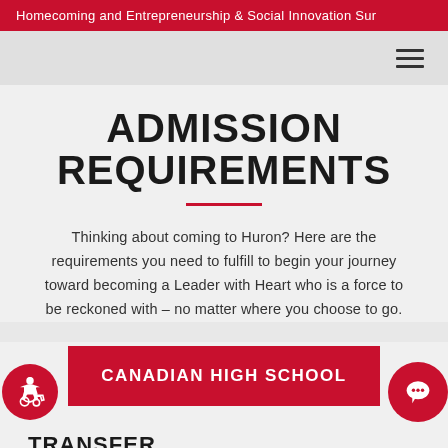Homecoming and Entrepreneurship & Social Innovation Sur
ADMISSION REQUIREMENTS
Thinking about coming to Huron? Here are the requirements you need to fulfill to begin your journey toward becoming a Leader with Heart who is a force to be reckoned with – no matter where you choose to go.
CANADIAN HIGH SCHOOL
TRANSFER